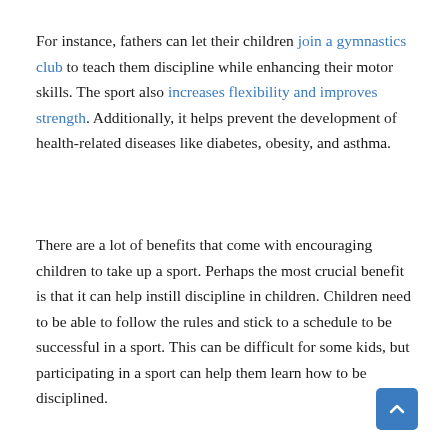For instance, fathers can let their children join a gymnastics club to teach them discipline while enhancing their motor skills. The sport also increases flexibility and improves strength. Additionally, it helps prevent the development of health-related diseases like diabetes, obesity, and asthma.
There are a lot of benefits that come with encouraging children to take up a sport. Perhaps the most crucial benefit is that it can help instill discipline in children. Children need to be able to follow the rules and stick to a schedule to be successful in a sport. This can be difficult for some kids, but participating in a sport can help them learn how to be disciplined.